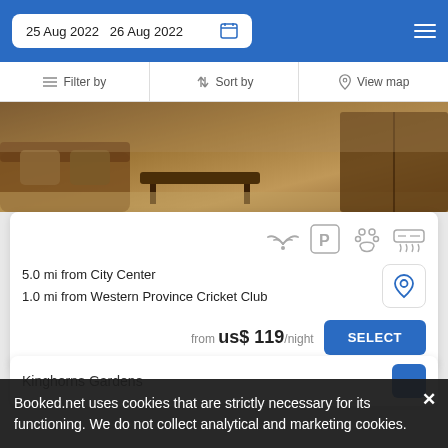25 Aug 2022  26 Aug 2022
Filter by  Sort by  View map
[Figure (photo): Interior room photo showing brown leather sofa, dark wood furniture, and hardwood floors]
5.0 mi from City Center
1.0 mi from Western Province Cricket Club
from us$ 119/night
SELECT
Kinghorns Gardens
Booked.net uses cookies that are strictly necessary for its functioning. We do not collect analytical and marketing cookies.